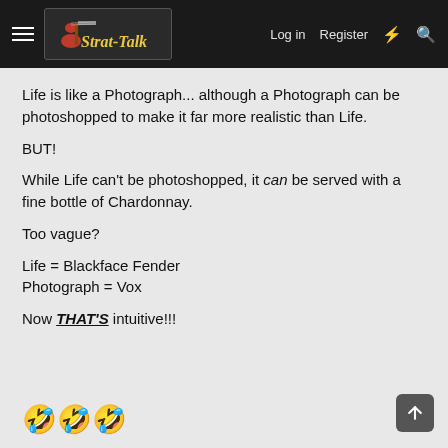Strat-Talk | Log in | Register
Life is like a Photograph... although a Photograph can be photoshopped to make it far more realistic than Life.

BUT!

While Life can't be photoshopped, it can be served with a fine bottle of Chardonnay.

Too vague?

Life = Blackface Fender
Photograph = Vox

Now THAT'S intuitive!!!
[Figure (other): Three rolling-on-the-floor laughing emoji]